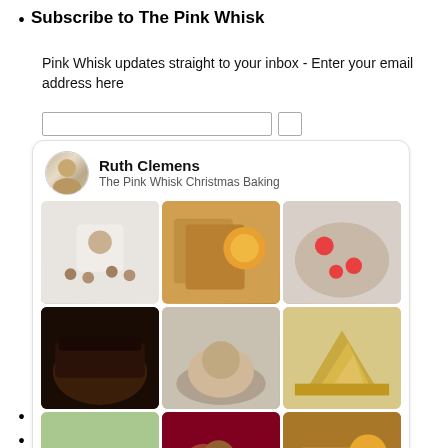Subscribe to The Pink Whisk
Pink Whisk updates straight to your inbox - Enter your email address here
[Figure (screenshot): Pinterest widget showing Ruth Clemens / The Pink Whisk Christmas Baking with a 3x3 grid of baking food photos and a Follow On Pinterest button at the bottom.]